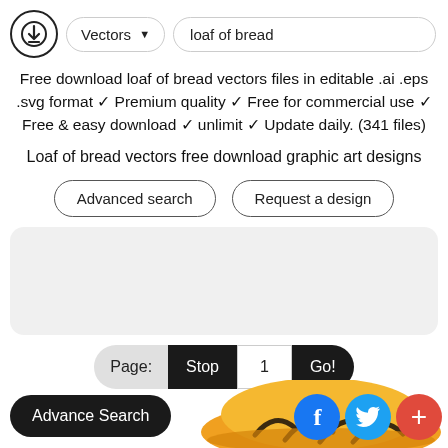[Figure (screenshot): Top navigation bar with download icon, Vectors dropdown button, and 'loaf of bread' search input]
Free download loaf of bread vectors files in editable .ai .eps .svg format ✓ Premium quality ✓ Free for commercial use ✓ Free & easy download ✓ unlimit ✓ Update daily. (341 files)
Loaf of bread vectors free download graphic art designs
Advanced search
Request a design
[Figure (screenshot): Light gray rounded rectangle content area placeholder]
Page:  Stop  1  Go!
Advance Search
[Figure (illustration): Partial illustration of a loaf of bread with orange/yellow coloring and dark stripes at the bottom of the page]
[Figure (logo): Facebook logo circle (blue), Twitter logo circle (light blue), Plus circle (red)]